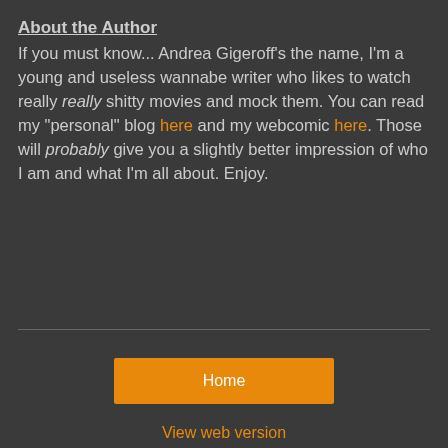About the Author
If you must know... Andrea Gigeroff's the name, I'm a young and useless wannabe writer who likes to watch really really shitty movies and mock them. You can read my "personal" blog here and my webcomic here. Those will probably give you a slightly better impression of who I am and what I'm all about. Enjoy.
Home | View web version | Powered by Blogger.